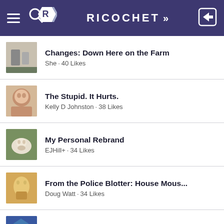RICOCHET
Changes: Down Here on the Farm
The Stupid. It Hurts.
My Personal Rebrand
From the Police Blotter: House Mous...
Yes, the Deep State Mutinied agains...